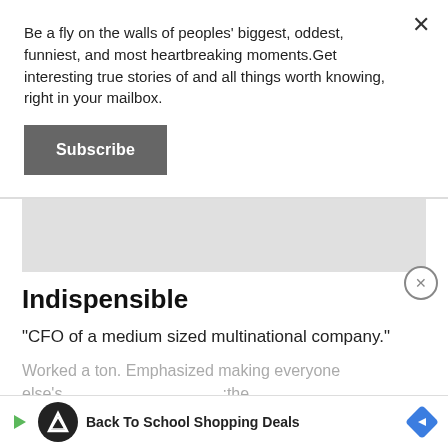Be a fly on the walls of peoples' biggest, oddest, funniest, and most heartbreaking moments.Get interesting true stories of and all things worth knowing, right in your mailbox.
Subscribe
Indispensible
"CFO of a medium sized multinational company."
Worked a ton. Emphasized making everyone else's
Back To School Shopping Deals